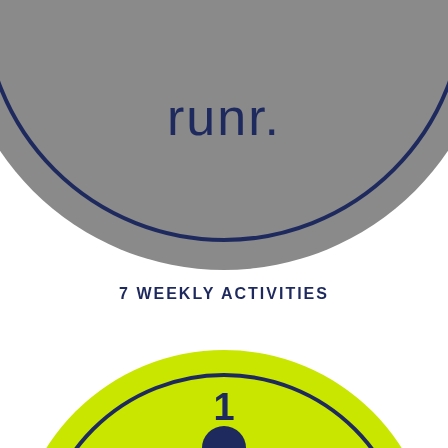[Figure (logo): Gray circle with dark navy border containing the text 'runr.' in lowercase, partially cropped at the top of the page]
7 WEEKLY ACTIVITIES
[Figure (infographic): Lime/yellow-green circle with dark navy border, containing a running figure silhouette with number '1' above it, and partially visible large text at bottom '50K', cropped at the bottom of the page. Small gray circles visible at the very bottom edge.]